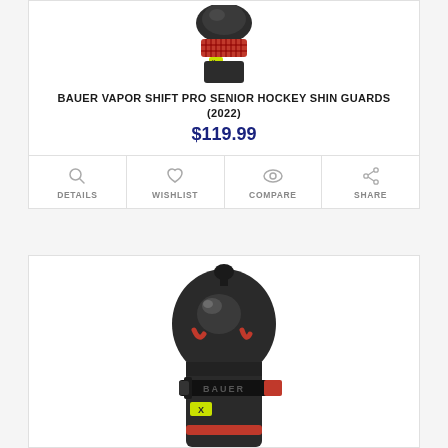[Figure (photo): Top portion of Bauer Vapor Shift Pro Senior Hockey Shin Guard showing the black protective pad with red mesh detail and yellow accent]
BAUER VAPOR SHIFT PRO SENIOR HOCKEY SHIN GUARDS (2022)
$119.99
DETAILS
WISHLIST
COMPARE
SHARE
[Figure (photo): Front view of Bauer Vapor Shift Pro Senior Hockey Shin Guard showing the full knee cap protector with BAUER logo strap, red accents, and yellow X detail]